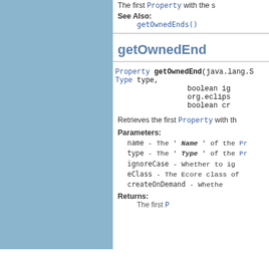Returns: The first Property with the s
See Also: getOwnedEnds()
getOwnedEnd
Property getOwnedEnd(java.lang.S Type type, boolean ig org.eclips boolean cr
Retrieves the first Property with th
Parameters: name - The ' Name ' of the Pr type - The ' Type ' of the Pr ignoreCase - Whether to ig eClass - The Ecore class of createOnDemand - Whethe
Returns: The first Property with the s